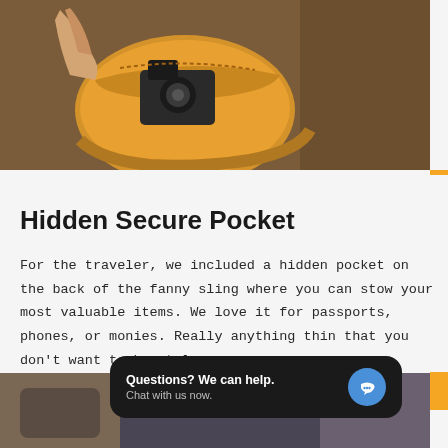[Figure (photo): Photo of a yellow/mustard fanny sling bag being opened, with a camera visible inside, held by a hand against a tree bark background.]
Hidden Secure Pocket
For the traveler, we included a hidden pocket on the back of the fanny sling where you can stow your most valuable items. We love it for passports, phones, or monies. Really anything thin that you don't want to be stolen.
[Figure (photo): Partial photo at bottom of page showing what appears to be a bag or product detail.]
Questions? We can help. Chat with us now.